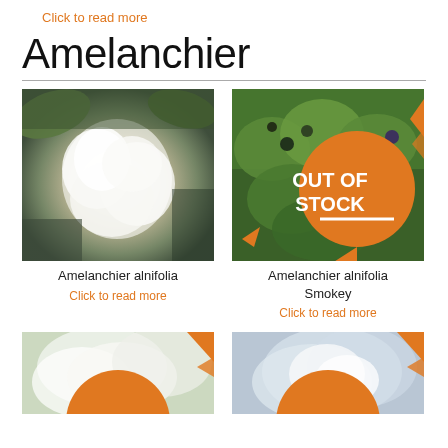Click to read more
Amelanchier
[Figure (photo): Close-up photo of white Amelanchier alnifolia blossoms with green leaves and blue-grey background]
Amelanchier alnifolia
Click to read more
[Figure (photo): Photo of Amelanchier alnifolia Smokey with green leaves and dark berries, overlaid with orange 'OUT OF STOCK' badge and orange decorative triangles]
Amelanchier alnifolia Smokey
Click to read more
[Figure (photo): Photo of white Amelanchier blossoms (bottom left card), partially cropped, with orange decorative triangle and partial orange circle badge]
[Figure (photo): Photo of Amelanchier with white flowers against grey-blue background (bottom right card), partially cropped, with orange decorative triangle]